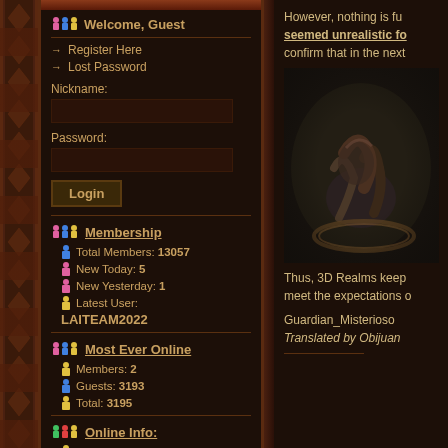Welcome, Guest
→ Register Here
→ Lost Password
Nickname:
Password:
Membership
Total Members: 13057
New Today: 5
New Yesterday: 1
Latest User: LAITEAM2022
Most Ever Online
Members: 2
Guests: 3193
Total: 3195
Online Info:
Total Online: 90
However, nothing is fu... seemed unrealistic fo... confirm that in the next
[Figure (photo): Dark fantasy game screenshot showing a creature/monster against dark background]
Thus, 3D Realms keep meet the expectations o
Guardian_Misterioso
Translated by Obijuan